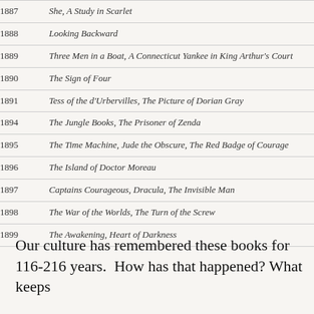| Year | Titles |
| --- | --- |
| 1887 | She, A Study in Scarlet |
| 1888 | Looking Backward |
| 1889 | Three Men in a Boat, A Connecticut Yankee in King Arthur's Court |
| 1890 | The Sign of Four |
| 1891 | Tess of the d'Urbervilles, The Picture of Dorian Gray |
| 1894 | The Jungle Books, The Prisoner of Zenda |
| 1895 | The Time Machine, Jude the Obscure, The Red Badge of Courage |
| 1896 | The Island of Doctor Moreau |
| 1897 | Captains Courageous, Dracula, The Invisible Man |
| 1898 | The War of the Worlds, The Turn of the Screw |
| 1899 | The Awakening, Heart of Darkness |
Our culture has remembered these books for 116-216 years.  How has that happened? What keeps